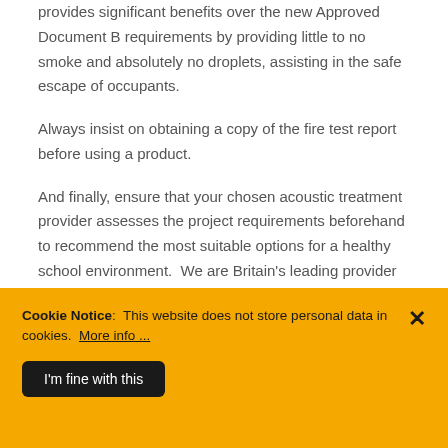provides significant benefits over the new Approved Document B requirements by providing little to no smoke and absolutely no droplets, assisting in the safe escape of occupants.
Always insist on obtaining a copy of the fire test report before using a product.
And finally, ensure that your chosen acoustic treatment provider assesses the project requirements beforehand to recommend the most suitable options for a healthy school environment.  We are Britain's leading provider of seamless acoustic sprays and acoustic plasters for the control of noise reverberation in buildings. Having the most extensive range, enables us to offer
Cookie Notice: This website does not store personal data in cookies. More info ...